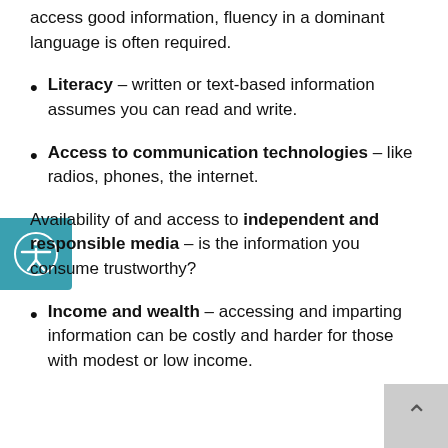access good information, fluency in a dominant language is often required.
Literacy – written or text-based information assumes you can read and write.
Access to communication technologies – like radios, phones, the internet.
Availability of and access to independent and responsible media – is the information you consume trustworthy?
Income and wealth – accessing and imparting information can be costly and harder for those with modest or low income.